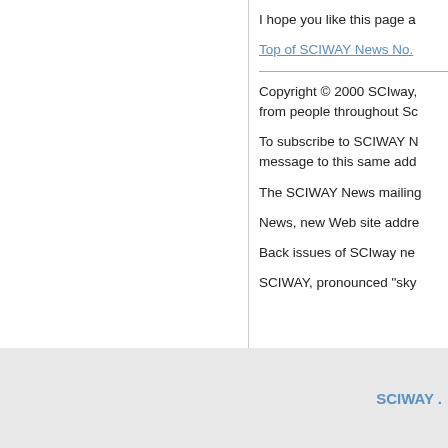I hope you like this page a
Top of SCIWAY News No.
Copyright © 2000 SCIway, from people throughout Sc
To subscribe to SCIWAY N message to this same add
The SCIWAY News mailing
News, new Web site addre
Back issues of SCIway ne
SCIWAY, pronounced "sky
SCIWAY .